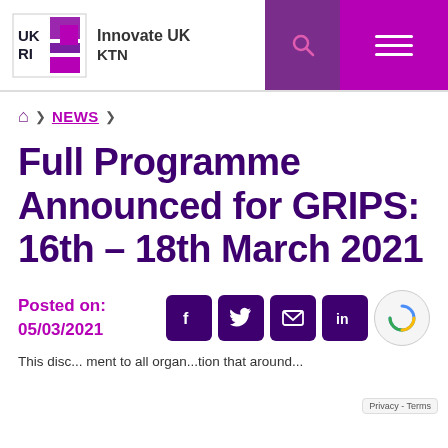[Figure (logo): UKRI Innovate UK KTN logo with search and menu icons in header]
🏠 > NEWS >
Full Programme Announced for GRIPS: 16th – 18th March 2021
Posted on: 05/03/2021
[Figure (other): Social sharing icons: Facebook, Twitter, Email, LinkedIn, and reCAPTCHA badge]